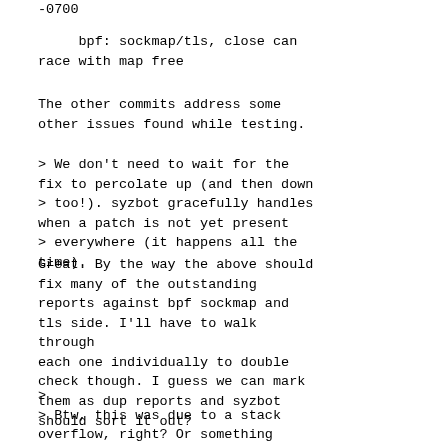-0700
bpf: sockmap/tls, close can race with map free
The other commits address some other issues found while testing.
> We don't need to wait for the fix to percolate up (and then down > too!). syzbot gracefully handles when a patch is not yet present > everywhere (it happens all the time).
Great. By the way the above should fix many of the outstanding reports against bpf sockmap and tls side. I'll have to walk through each one individually to double check though. I guess we can mark them as dup reports and syzbot should sort it out?
>
> Btw, this was due to a stack overflow, right? Or something else?
Right, that confirms it...